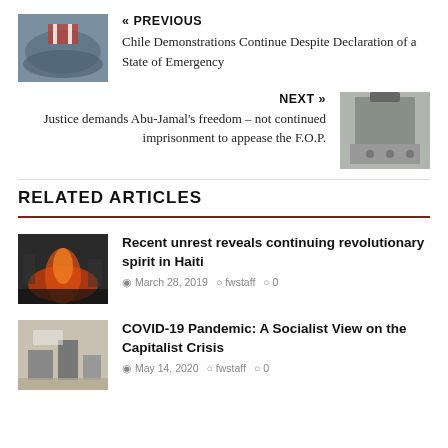« PREVIOUS
Chile Demonstrations Continue Despite Declaration of a State of Emergency
[Figure (photo): Aerial view of large crowd holding a Chilean flag]
NEXT »
Justice demands Abu-Jamal's freedom – not continued imprisonment to appease the F.O.P.
[Figure (photo): Group of protesters standing in front of a building]
RELATED ARTICLES
[Figure (photo): Fire burning in a street scene, Haiti unrest]
Recent unrest reveals continuing revolutionary spirit in Haiti
March 28, 2019   fwstaff   0
[Figure (photo): Black and white historical photo related to COVID-19 article]
COVID-19 Pandemic: A Socialist View on the Capitalist Crisis
May 14, 2020   fwstaff   0